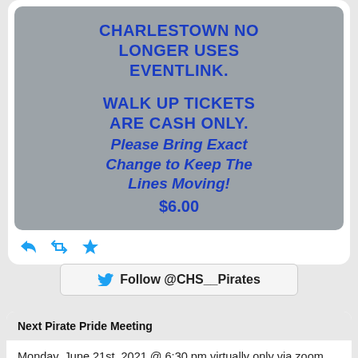[Figure (screenshot): Grey image box with bold blue text: CHARLESTOWN NO LONGER USES EVENTLINK. WALK UP TICKETS ARE CASH ONLY. Please Bring Exact Change to Keep The Lines Moving! $6.00]
Follow @CHS__Pirates
Next Pirate Pride Meeting
Monday, June 21st, 2021 @ 6:30 pm virtually only via zoom.  Go to www.PiratePride.BLUE/Meet for connection details.